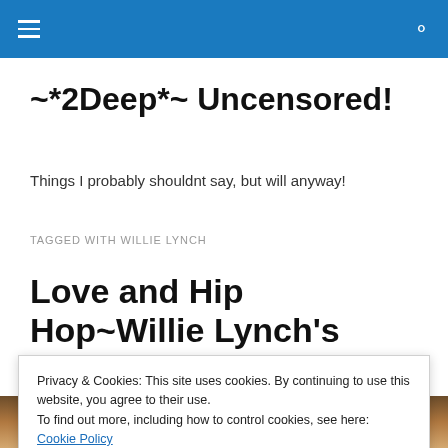Navigation header bar with hamburger menu and search icon
~*2Deep*~ Uncensored!
Things I probably shouldnt say, but will anyway!
TAGGED WITH WILLIE LYNCH
Love and Hip Hop~Willie Lynch's Dream
Privacy & Cookies: This site uses cookies. By continuing to use this website, you agree to their use.
To find out more, including how to control cookies, see here: Cookie Policy
[Figure (photo): Photo strip of women at the bottom of the page]